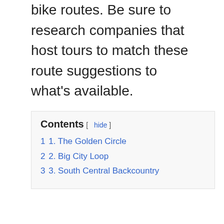bike routes. Be sure to research companies that host tours to match these route suggestions to what's available.
Contents [ hide ]
1 1. The Golden Circle
2 2. Big City Loop
3 3. South Central Backcountry